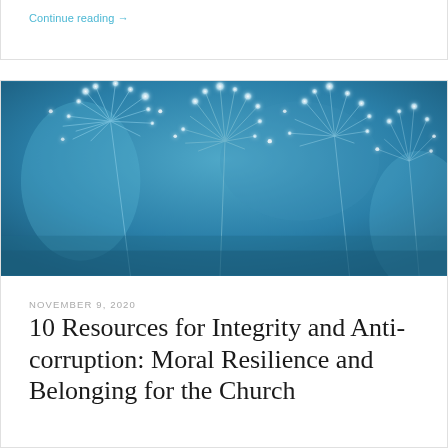Continue reading →
[Figure (photo): Close-up macro photograph of dandelion seeds with water droplets against a blue background]
NOVEMBER 9, 2020
10 Resources for Integrity and Anti-corruption: Moral Resilience and Belonging for the Church